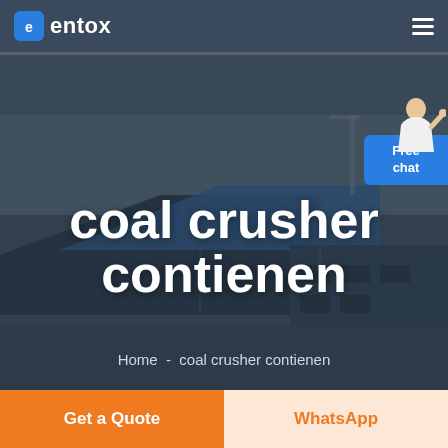entox
[Figure (screenshot): Aerial view of large industrial factory complex with blue roofed buildings, used as hero background image for a mining/crusher equipment website]
coal crusher contienen
Home  -  coal crusher contienen
Free chat
Get a Quote
WhatsApp